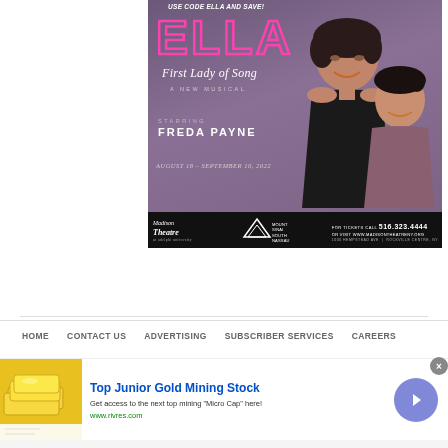[Figure (illustration): Theater advertisement for 'ELLA - First Lady of Song', a new musical starring Freda Payne, running August 18 - September 10, 2022 at Madison Theatre. Features two women performers on a purple background. Includes ticket info: 516.323.4444, www.madisontheatreny.org, 1000 Hempstead Ave, Rockville Centre, NY. Promo code ELLA.]
HOME   CONTACT US   ADVERTISING   SUBSCRIBER SERVICES   CAREERS
[Figure (advertisement): Banner ad for Top Junior Gold Mining Stock. Image of gold bars on left. Text: 'Top Junior Gold Mining Stock - Get access to the next top mining Micro Cap here! www.rivres.com'. Blue circle arrow button on right.]